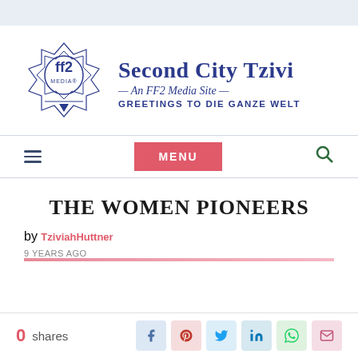[Figure (logo): FF2 Media logo — geometric star/compass design with 'ff2 MEDIA' text in blue]
Second City Tzivi — An FF2 Media Site — GREETINGS TO DIE GANZE WELT
[Figure (screenshot): Navigation bar with hamburger menu, pink MENU button, and green search icon]
THE WOMEN PIONEERS
by TziviahHuttner
9 YEARS AGO
0 shares
[Figure (infographic): Share bar with icons for Facebook, Pinterest, Twitter, LinkedIn, WhatsApp, Email]